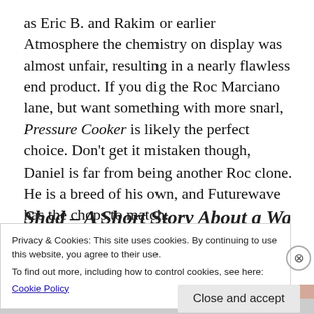as Eric B. and Rakim or earlier Atmosphere the chemistry on display was almost unfair, resulting in a nearly flawless end product. If you dig the Roc Marciano lane, but want something with more snarl, Pressure Cooker is likely the perfect choice. Don't get it mistaken though, Daniel is far from being another Roc clone. He is a breed of his own, and Futurewave has the chops to match.
Shad – A Short Story About a War: The only
Privacy & Cookies: This site uses cookies. By continuing to use this website, you agree to their use.
To find out more, including how to control cookies, see here:
Cookie Policy
Close and accept